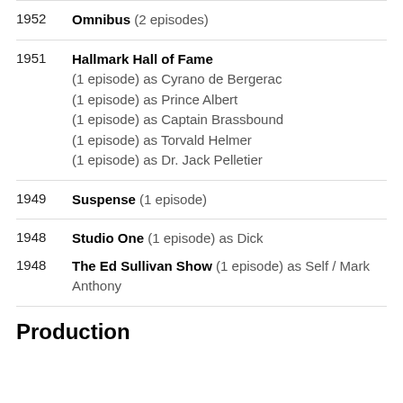1952  Omnibus (2 episodes)
1951  Hallmark Hall of Fame (1 episode) as Cyrano de Bergerac (1 episode) as Prince Albert (1 episode) as Captain Brassbound (1 episode) as Torvald Helmer (1 episode) as Dr. Jack Pelletier
1949  Suspense (1 episode)
1948  Studio One (1 episode) as Dick
1948  The Ed Sullivan Show (1 episode) as Self / Mark Anthony
Production